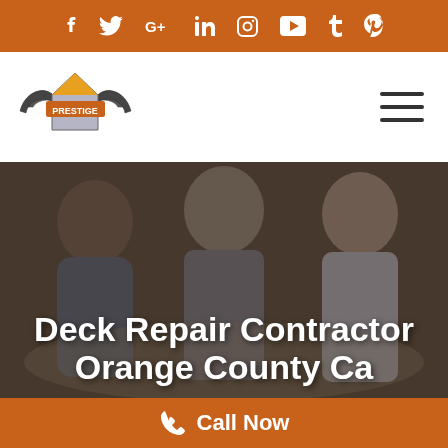Social media icons: f, Twitter, G+, in, Instagram, YouTube, Tumblr, Pinterest
[Figure (logo): Prestige roofing company logo with wings and house graphic]
Deck Repair Contractor Orange County Ca
[Figure (photo): Three smiling people in a business meeting, dark overlay]
Call Now